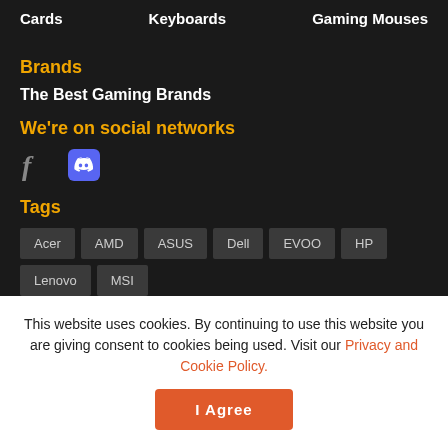Cards   Keyboards   Gaming Mouses
Brands
The Best Gaming Brands
We're on social networks
[Figure (illustration): Facebook and Discord social media icons]
Tags
Acer
AMD
ASUS
Dell
EVOO
HP
Lenovo
MSI
This website uses cookies. By continuing to use this website you are giving consent to cookies being used. Visit our Privacy and Cookie Policy.